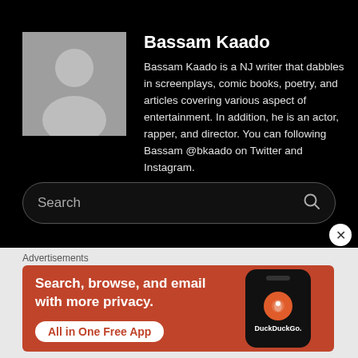Bassam Kaado
Bassam Kaado is a NJ writer that dabbles in screenplays, comic books, poetry, and articles covering various aspect of entertainment. In addition, he is an actor, rapper, and director. You can following Bassam @bkaado on Twitter and Instagram.
[Figure (screenshot): Search bar with placeholder text 'Search' and magnifying glass icon on dark background]
Advertisements
[Figure (screenshot): DuckDuckGo advertisement banner in orange with text 'Search, browse, and email with more privacy. All in One Free App' and DuckDuckGo logo with phone mockup]